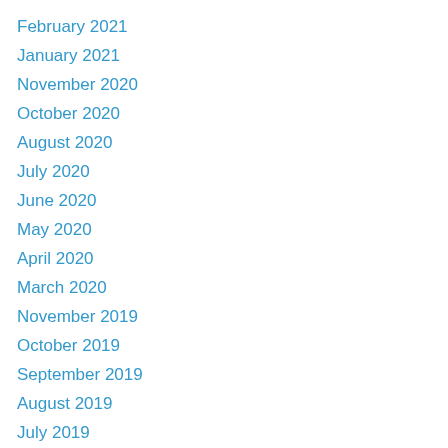February 2021
January 2021
November 2020
October 2020
August 2020
July 2020
June 2020
May 2020
April 2020
March 2020
November 2019
October 2019
September 2019
August 2019
July 2019
June 2019
May 2019
April 2019
March 2019
February 2019